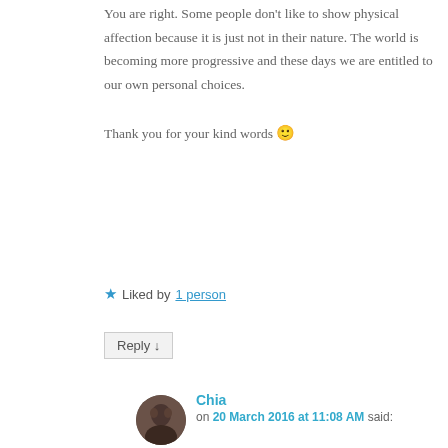You are right. Some people don't like to show physical affection because it is just not in their nature. The world is becoming more progressive and these days we are entitled to our own personal choices.

Thank you for your kind words 🙂
★ Liked by 1 person
Reply ↓
Chia on 20 March 2016 at 11:08 AM said:
Thanks Mahal. We are both lucky that
Advertisements
[Figure (photo): Victoria's Secret advertisement banner with model, VS logo, 'SHOP THE COLLECTION' text and 'SHOP NOW' button]